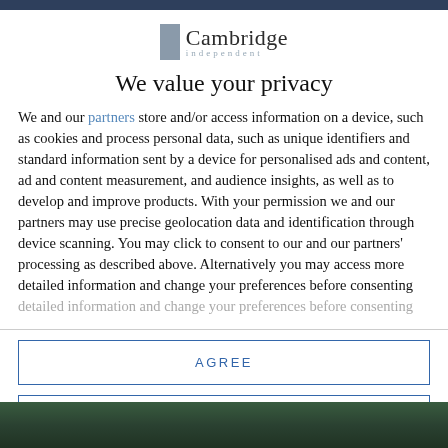Cambridge Independent
We value your privacy
We and our partners store and/or access information on a device, such as cookies and process personal data, such as unique identifiers and standard information sent by a device for personalised ads and content, ad and content measurement, and audience insights, as well as to develop and improve products. With your permission we and our partners may use precise geolocation data and identification through device scanning. You may click to consent to our and our partners' processing as described above. Alternatively you may access more detailed information and change your preferences before consenting
AGREE
MORE OPTIONS
[Figure (photo): Partial photo visible at the bottom of the page, appears to be an outdoor scene with green/dark tones]